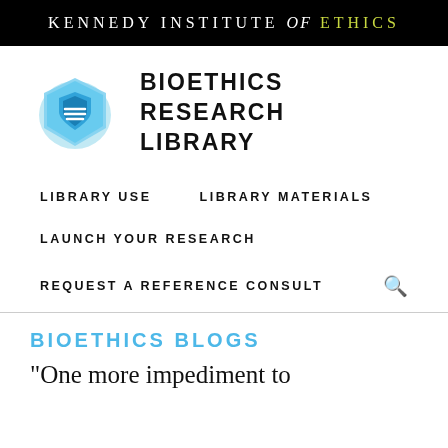KENNEDY INSTITUTE of ETHICS
[Figure (logo): Bioethics Research Library logo: blue hexagonal shape with a shield icon, next to bold text reading BIOETHICS RESEARCH LIBRARY]
LIBRARY USE
LIBRARY MATERIALS
LAUNCH YOUR RESEARCH
REQUEST A REFERENCE CONSULT
BIOETHICS BLOGS
"One more impediment to